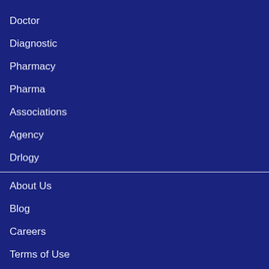Doctor
Diagnostic
Pharmacy
Pharma
Associations
Agency
Drlogy
About Us
Blog
Careers
Terms of Use
Privacy Policy
Subscribers